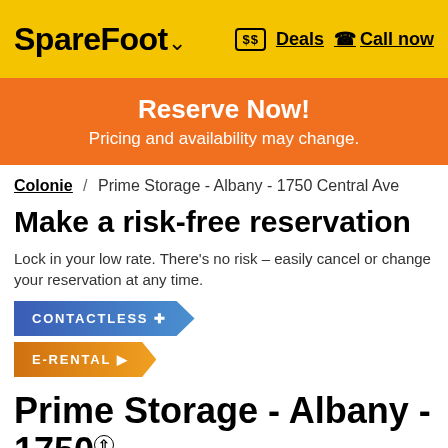SpareFoot ˅  Deals  Call now
Reserve Now! Pricing and availability may change.
Colonie / Prime Storage - Albany - 1750 Central Ave
Make a risk-free reservation
Lock in your low rate. There's no risk – easily cancel or change your reservation at any time.
CONTACTLESS
E-RENTAL
Prime Storage - Albany - 1750 Central Ave